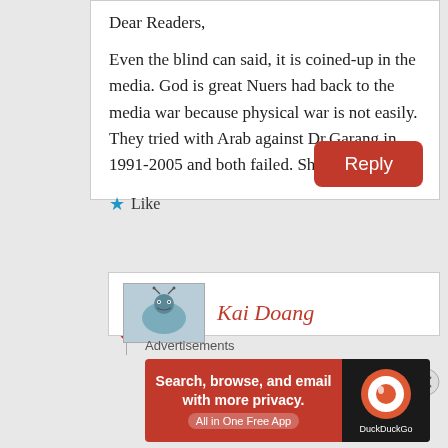Dear Readers,
Even the blind can said, it is coined-up in the media. God is great Nuers had back to the media war because physical war is not easily. They tried with Arab against Dr.Garang in 1991-2005 and both failed. Shame at you.
★ Like
Reply
Kai Doang
Advertisements
[Figure (screenshot): DuckDuckGo advertisement banner: Search, browse, and email with more privacy. All in One Free App]